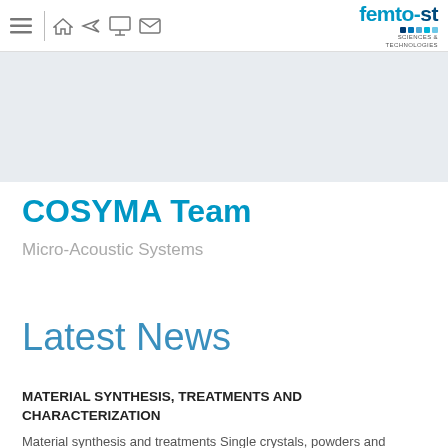femto-st SCIENCES & TECHNOLOGIES — navigation icons: menu, home, send, presentation, mail
[Figure (illustration): Hexagonal pattern banner with various shades of gray, blue, and green hexagons forming a decorative header image]
COSYMA Team
Micro-Acoustic Systems
Latest News
MATERIAL SYNTHESIS, TREATMENTS AND CHARACTERIZATION
Material synthesis and treatments Single crystals, powders and